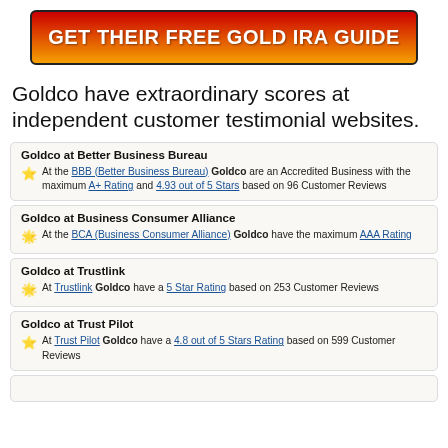[Figure (other): Red-to-orange gradient button with white bold text: GET THEIR FREE GOLD IRA GUIDE]
Goldco have extraordinary scores at independent customer testimonial websites.
Goldco at Better Business Bureau
At the BBB (Better Business Bureau) Goldco are an Accredited Business with the maximum A+ Rating and 4.93 out of 5 Stars based on 96 Customer Reviews
Goldco at Business Consumer Alliance
At the BCA (Business Consumer Alliance) Goldco have the maximum AAA Rating
Goldco at Trustlink
At Trustlink Goldco have a 5 Star Rating based on 253 Customer Reviews
Goldco at Trust Pilot
At Trust Pilot Goldco have a 4.8 out of 5 Stars Rating based on 599 Customer Reviews